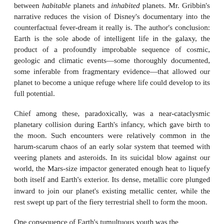between habitable planets and inhabited planets. Mr. Gribbin's narrative reduces the vision of Disney's documentary into the counterfactual fever-dream it really is. The author's conclusion: Earth is the sole abode of intelligent life in the galaxy, the product of a profoundly improbable sequence of cosmic, geologic and climatic events—some thoroughly documented, some inferable from fragmentary evidence—that allowed our planet to become a unique refuge where life could develop to its full potential.
Chief among these, paradoxically, was a near-cataclysmic planetary collision during Earth's infancy, which gave birth to the moon. Such encounters were relatively common in the harum-scarum chaos of an early solar system that teemed with veering planets and asteroids. In its suicidal blow against our world, the Mars-size impactor generated enough heat to liquefy both itself and Earth's exterior. Its dense, metallic core plunged inward to join our planet's existing metallic center, while the rest swept up part of the fiery terrestrial shell to form the moon.
One consequence of Earth's tumultuous youth was the